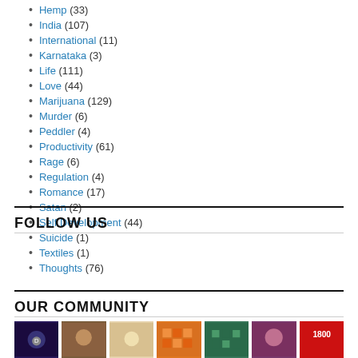Hemp (33)
India (107)
International (11)
Karnataka (3)
Life (111)
Love (44)
Marijuana (129)
Murder (6)
Peddler (4)
Productivity (61)
Rage (6)
Regulation (4)
Romance (17)
Satan (2)
Self Development (44)
Suicide (1)
Textiles (1)
Thoughts (76)
FOLLOW US
OUR COMMUNITY
[Figure (photo): Community member profile images thumbnails row]